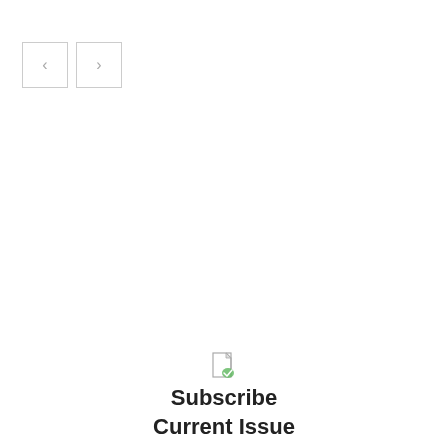[Figure (other): Navigation previous and next arrow buttons, two square outlined buttons with left and right chevron arrows in gray]
[Figure (other): Small document/subscribe icon image placeholder]
Subscribe
Current Issue